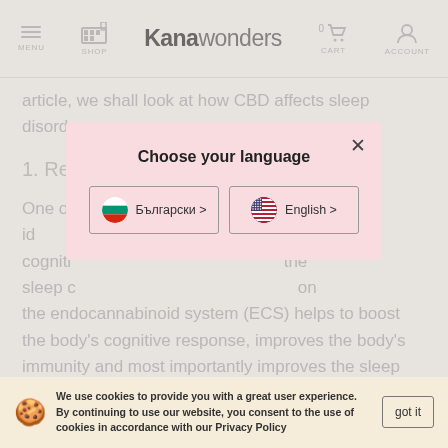MENU  SHOP  Kana wonders  0  CART  ACCOUNT
article, we shall look at how CBD affects sleep disorders.
1. Rea...
One of ... have been id... cogniti... the sleep c... on the endocannabinoid system (ECS) helps to boost the body's cognitive response, improves the body's immunity and most importantly improves the sleep cycle by keeping the body relaxed.
[Figure (screenshot): Language selection modal dialog with pink background. Title: 'Choose your language'. Two buttons: 'Български >' with Bulgarian flag, and 'English >' with US flag. Close button (×) in top right.]
We use cookies to provide you with a great user experience. By continuing to use our website, you consent to the use of cookies in accordance with our Privacy Policy
got it